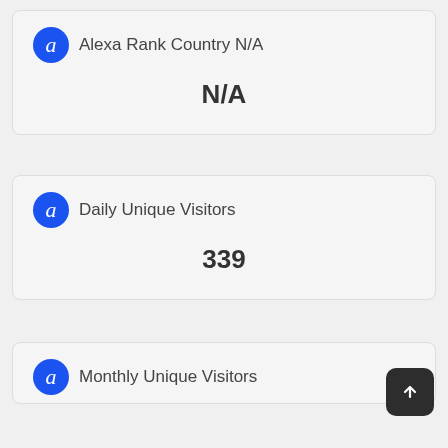Alexa Rank Country N/A
N/A
Daily Unique Visitors
339
Monthly Unique Visitors